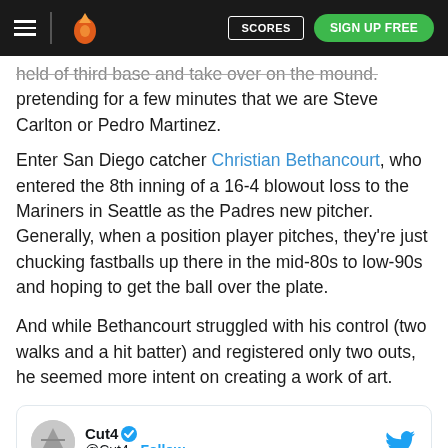Scores | Sign Up Free
held of third base and take over on the mound. pretending for a few minutes that we are Steve Carlton or Pedro Martinez.
Enter San Diego catcher Christian Bethancourt, who entered the 8th inning of a 16-4 blowout loss to the Mariners in Seattle as the Padres new pitcher. Generally, when a position player pitches, they're just chucking fastballs up there in the mid-80s to low-90s and hoping to get the ball over the plate.
And while Bethancourt struggled with his control (two walks and a hit batter) and registered only two outs, he seemed more intent on creating a work of art.
[Figure (screenshot): Tweet card from @Cut4 with Cut4 username, verified checkmark, Follow link, and Twitter bird icon]